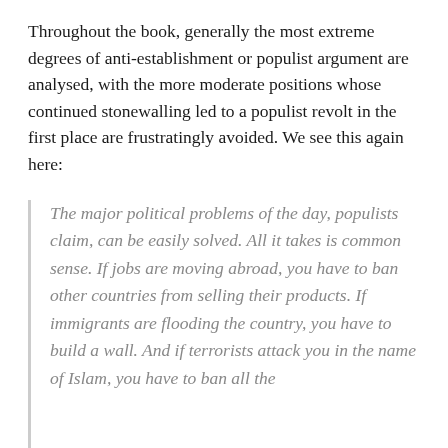Throughout the book, generally the most extreme degrees of anti-establishment or populist argument are analysed, with the more moderate positions whose continued stonewalling led to a populist revolt in the first place are frustratingly avoided. We see this again here:
The major political problems of the day, populists claim, can be easily solved. All it takes is common sense. If jobs are moving abroad, you have to ban other countries from selling their products. If immigrants are flooding the country, you have to build a wall. And if terrorists attack you in the name of Islam, you have to ban all the Musl...